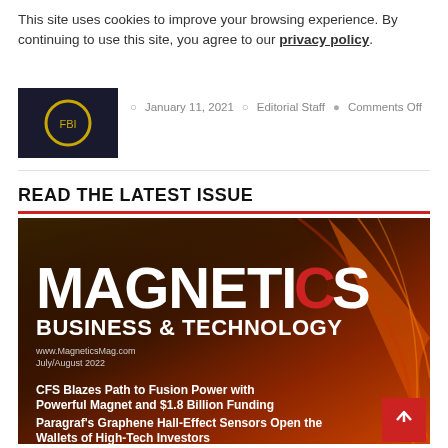This site uses cookies to improve your browsing experience. By continuing to use this site, you agree to our privacy policy.
January 11, 2021 · Editorial Staff · Comments Off
READ THE LATEST ISSUE
[Figure (photo): Cover of Magnetics Business & Technology magazine, July/August 2022 issue. Dark background with orange-red gradient. Large white text reads MAGNETICS (with red C) BUSINESS & TECHNOLOGY. URL www.MagneticsMag.com and date July/August 2022 shown. Headline articles: CFS Blazes Path to Fusion Power with Powerful Magnet and $1.8 Billion Funding; Paragraf's Graphene Hall-Effect Sensors Open the Wallets of High-Tech Investors.]